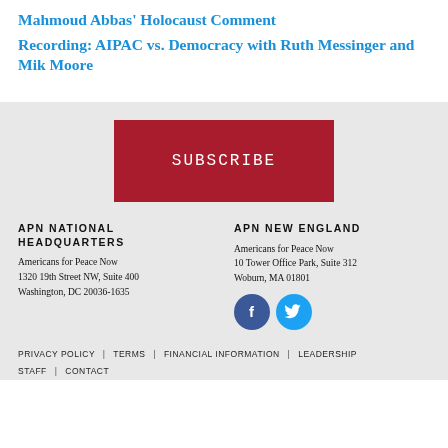Mahmoud Abbas' Holocaust Comment
Recording: AIPAC vs. Democracy with Ruth Messinger and Mik Moore
[Figure (other): Red SUBSCRIBE button/banner]
APN NATIONAL HEADQUARTERS
Americans for Peace Now
1320 19th Street NW, Suite 400
Washington, DC 20036-1635
APN NEW ENGLAND
Americans for Peace Now
10 Tower Office Park, Suite 312
Woburn, MA 01801
[Figure (illustration): Facebook and Twitter social media icon circles]
PRIVACY POLICY | TERMS | FINANCIAL INFORMATION | LEADERSHIP STAFF | CONTACT